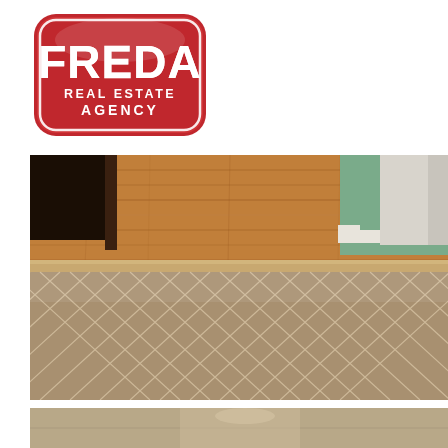[Figure (logo): Freda Real Estate Agency logo — red rounded rectangle badge with white text reading FREDA in large letters and REAL ESTATE AGENCY below]
[Figure (photo): Interior photo showing transition between hardwood flooring and patterned carpet with diamond/lattice design in tan/brown tones, with white baseboard and green wall visible]
[Figure (photo): Partial view of another interior room photo at bottom of page]